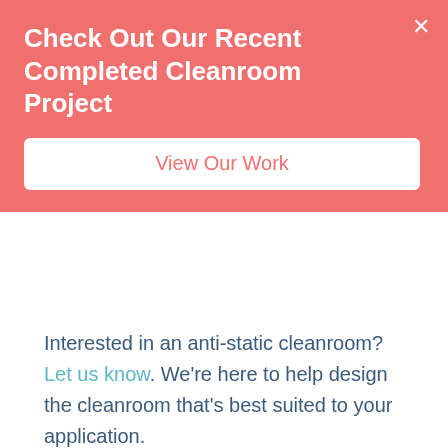Check Out Our Recent Completed Cleanroom Project
View Our Work
Interested in an anti-static cleanroom? Let us know. We're here to help design the cleanroom that's best suited to your application.